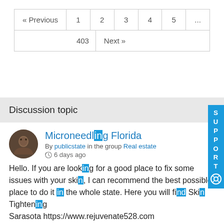| « Previous | 1 | 2 | 3 | 4 | 5 | ... |
| --- | --- | --- | --- | --- | --- | --- |
|  | 403 | Next » |  |  |  |  |
Discussion topic
[Figure (photo): User avatar photo - circular profile picture of a person]
Microneedling Florida
By publicstate in the group Real estate
6 days ago
Hello. If you are looking for a good place to fix some issues with your skin, I can recommend the best possible place to do it in the whole state. Here you will find Skin Tightening
Sarasota https://www.rejuvenate528.com